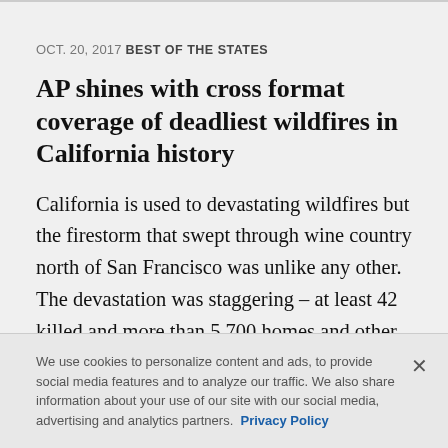OCT. 20, 2017
BEST OF THE STATES
AP shines with cross format coverage of deadliest wildfires in California history
California is used to devastating wildfires but the firestorm that swept through wine country north of San Francisco was unlike any other. The devastation was staggering – at least 42 killed and more than 5,700 homes and other structures burned to the
We use cookies to personalize content and ads, to provide social media features and to analyze our traffic. We also share information about your use of our site with our social media, advertising and analytics partners.  Privacy Policy